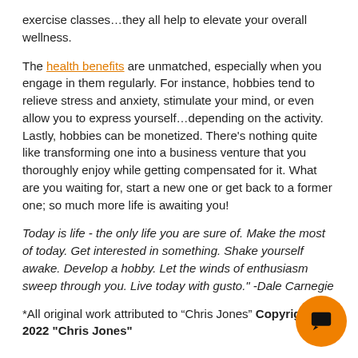exercise classes…they all help to elevate your overall wellness.
The health benefits are unmatched, especially when you engage in them regularly. For instance, hobbies tend to relieve stress and anxiety, stimulate your mind, or even allow you to express yourself…depending on the activity. Lastly, hobbies can be monetized. There's nothing quite like transforming one into a business venture that you thoroughly enjoy while getting compensated for it. What are you waiting for, start a new one or get back to a former one; so much more life is awaiting you!
Today is life - the only life you are sure of. Make the most of today. Get interested in something. Shake yourself awake. Develop a hobby. Let the winds of enthusiasm sweep through you. Live today with gusto." -Dale Carnegie
*All original work attributed to “Chris Jones” Copyright 2022 "Chris Jones"